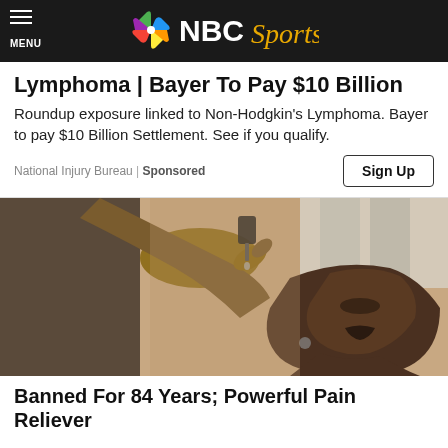MENU — NBC Sports
Lymphoma | Bayer To Pay $10 Billion
Roundup exposure linked to Non-Hodgkin's Lymphoma. Bayer to pay $10 Billion Settlement. See if you qualify.
National Injury Bureau | Sponsored   [Sign Up button]
[Figure (photo): Woman tilting her head back and using a dropper to place liquid into her mouth]
Banned For 84 Years; Powerful Pain Reliever